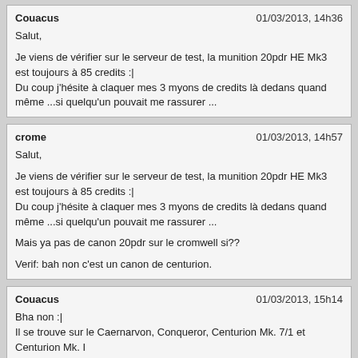Couacus | 01/03/2013, 14h36
Salut,

Je viens de vérifier sur le serveur de test, la munition 20pdr HE Mk3 est toujours à 85 credits :|
Du coup j'hésite à claquer mes 3 myons de credits là dedans quand même ...si quelqu'un pouvait me rassurer ...
crome | 01/03/2013, 14h57
Salut,

Je viens de vérifier sur le serveur de test, la munition 20pdr HE Mk3 est toujours à 85 credits :|
Du coup j'hésite à claquer mes 3 myons de credits là dedans quand même ...si quelqu'un pouvait me rassurer ...

Mais ya pas de canon 20pdr sur le cromwell si??

Verif: bah non c'est un canon de centurion.
Couacus | 01/03/2013, 15h14
Bha non :|
Il se trouve sur le Caernarvon, Conqueror, Centurion Mk. 7/1 et Centurion Mk. I
:huh:
keulz | 01/03/2013, 15h52
Salut,

Je viens de vérifier sur le serveur de test, la munition 20pdr HE Mk3 est